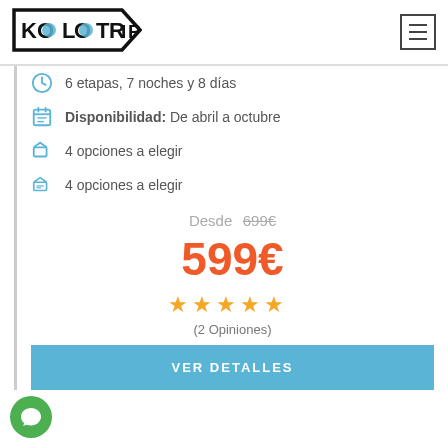[Figure (logo): KOLOTRIP logo with blue circle letters inside a pointed badge shape, with hamburger menu icon on the right]
6 etapas, 7 noches y 8 días
Disponibilidad: De abril a octubre
4 opciones a elegir
4 opciones a elegir
Desde 699€ (strikethrough)
599€
[Figure (other): 5 orange stars rating]
(2 Opiniones)
VER DETALLES